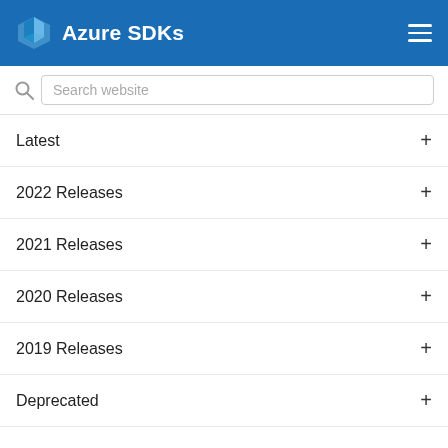Azure SDKs
Latest
2022 Releases
2021 Releases
2020 Releases
2019 Releases
Deprecated
Azure SDK Deprecated Releases
This page contains the list of packages that have been deprecated. Please see support policy for more information.